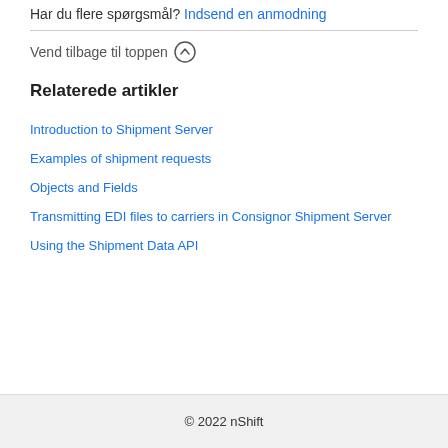Har du flere spørgsmål? Indsend en anmodning
Vend tilbage til toppen ↑
Relaterede artikler
Introduction to Shipment Server
Examples of shipment requests
Objects and Fields
Transmitting EDI files to carriers in Consignor Shipment Server
Using the Shipment Data API
© 2022 nShift